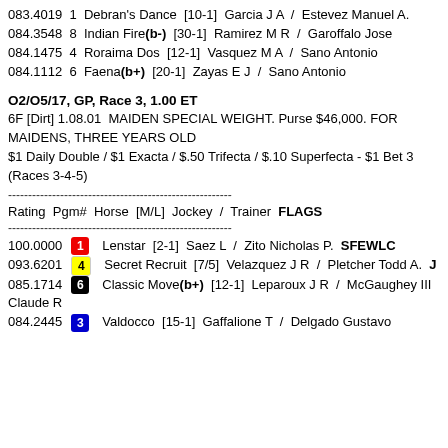083.4019  1  Debran's Dance  [10-1]  Garcia J A  /  Estevez Manuel A.
084.3548  8  Indian Fire(b-)  [30-1]  Ramirez M R  /  Garoffalo Jose
084.1475  4  Roraima Dos  [12-1]  Vasquez M A  /  Sano Antonio
084.1112  6  Faena(b+)  [20-1]  Zayas E J  /  Sano Antonio
O2/O5/17, GP, Race 3, 1.00 ET
6F [Dirt] 1.08.01  MAIDEN SPECIAL WEIGHT. Purse $46,000. FOR MAIDENS, THREE YEARS OLD
$1 Daily Double / $1 Exacta / $.50 Trifecta / $.10 Superfecta - $1 Bet 3 (Races 3-4-5)
Rating  Pgm#  Horse  [M/L]  Jockey  /  Trainer  FLAGS
100.0000  1  Lenstar  [2-1]  Saez L  /  Zito Nicholas P.  SFEWLC
093.6201  4  Secret Recruit  [7/5]  Velazquez J R  /  Pletcher Todd A.  J
085.1714  6  Classic Move(b+)  [12-1]  Leparoux J R  /  McGaughey III Claude R
084.2445  3  Valdocco  [15-1]  Gaffalione T  /  Delgado Gustavo